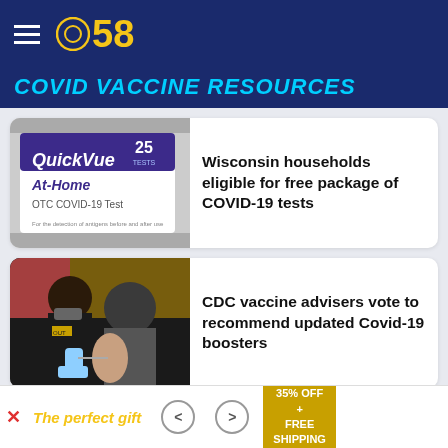CBS58
COVID VACCINE RESOURCES
[Figure (photo): QuickVue At-Home OTC COVID-19 Test box, 25 tests]
Wisconsin households eligible for free package of COVID-19 tests
[Figure (photo): Healthcare worker administering vaccine to a patient]
CDC vaccine advisers vote to recommend updated Covid-19 boosters
LATEST
[Figure (screenshot): Advertisement banner: The perfect gift, 35% OFF + FREE SHIPPING]